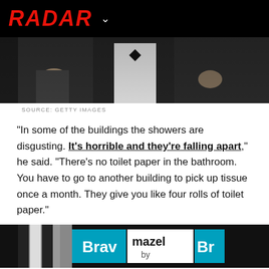RADAR
[Figure (photo): Cropped photo of people in formal wear (tuxedos), partial view of torsos and hands. Bottom portion of a red carpet or event photo.]
SOURCE: GETTY IMAGES
"In some of the buildings the showers are disgusting. It's horrible and they're falling apart," he said. "There's no toilet paper in the bathroom. You have to go to another building to pick up tissue once a month. They give you like four rolls of toilet paper."
[Figure (screenshot): Bottom portion of a photo showing the Bravo network logo and 'mazel by' text, appears to be a TV show screenshot or event signage.]